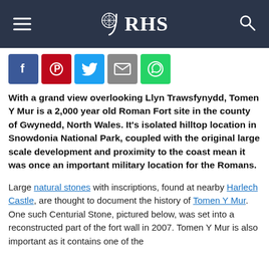RHS
Social sharing buttons: Facebook, Pinterest, Twitter, Email, WhatsApp
With a grand view overlooking Llyn Trawsfynydd, Tomen Y Mur is a 2,000 year old Roman Fort site in the county of Gwynedd, North Wales. It's isolated hilltop location in Snowdonia National Park, coupled with the original large scale development and proximity to the coast mean it was once an important military location for the Romans.
Large natural stones with inscriptions, found at nearby Harlech Castle, are thought to document the history of Tomen Y Mur. One such Centurial Stone, pictured below, was set into a reconstructed part of the fort wall in 2007. Tomen Y Mur is also important as it contains one of the